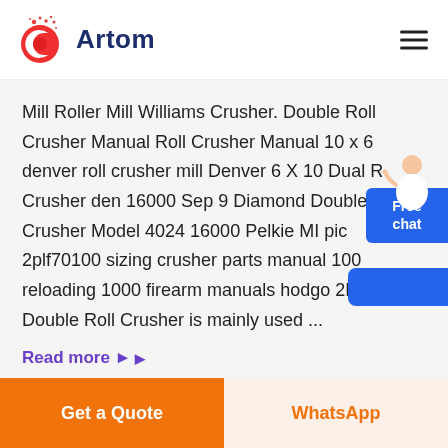Artom
Mill Roller Mill Williams Crusher. Double Roll Crusher Manual Roll Crusher Manual 10 x 6 denver roll crusher mill Denver 6 X 10 Dual Roll Crusher den 16000 Sep 9 Diamond Double Roll Crusher Model 4024 16000 Pelkie MI pic 2plf70100 sizing crusher parts manual 100 reloading 1000 firearm manuals hodgo 2PGL Double Roll Crusher is mainly used ...
Read more ▶
Get a Quote | WhatsApp